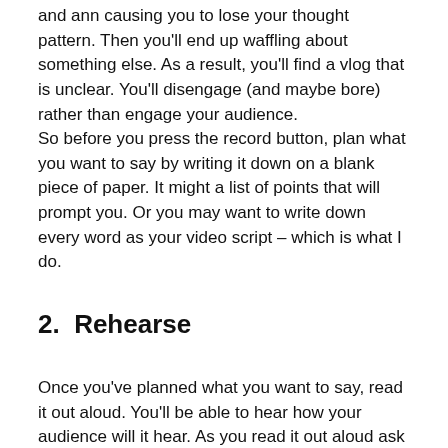and ann causing you to lose your thought pattern. Then you'll end up waffling about something else. As a result, you'll find a vlog that is unclear. You'll disengage (and maybe bore) rather than engage your audience.
So before you press the record button, plan what you want to say by writing it down on a blank piece of paper. It might a list of points that will prompt you. Or you may want to write down every word as your video script – which is what I do.
2.  Rehearse
Once you've planned what you want to say, read it out aloud. You'll be able to hear how your audience will it hear. As you read it out aloud ask yourself these questions:
How does the message sound?